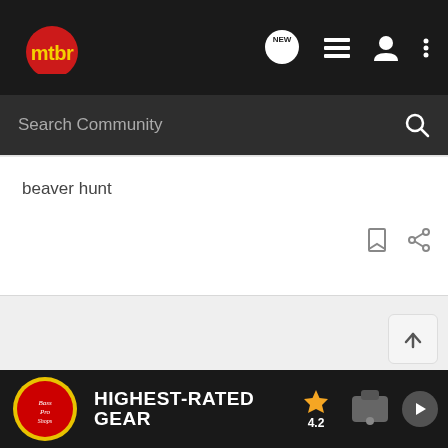[Figure (screenshot): MTBR community website mobile app screenshot showing navigation bar with logo, search bar, post titled 'beaver hunt', action icons, and Bass Pro Shops ad banner]
mtbr
Search Community
beaver hunt
[Figure (other): Bass Pro Shops advertisement banner: HIGHEST-RATED GEAR, rating 4.2 stars]
HIGHEST-RATED GEAR 4.2